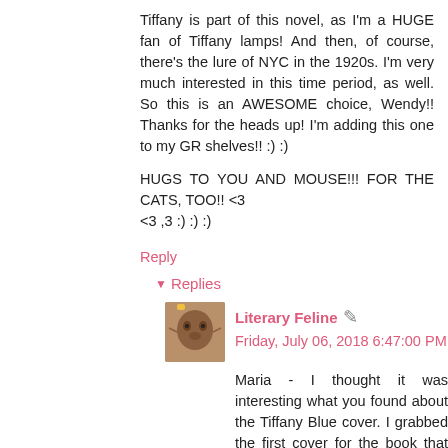Tiffany is part of this novel, as I'm a HUGE fan of Tiffany lamps! And then, of course, there's the lure of NYC in the 1920s. I'm very much interested in this time period, as well. So this is an AWESOME choice, Wendy!! Thanks for the heads up! I'm adding this one to my GR shelves!! :) :)
HUGS TO YOU AND MOUSE!!! FOR THE CATS, TOO!! <3 <3 ,3 :) :) :)
Reply
Replies
Literary Feline  Friday, July 06, 2018 6:47:00 PM
Maria - I thought it was interesting what you found about the Tiffany Blue cover. I grabbed the first cover for the book that popped up on Goodreads and hadn't even paid attention to the other one. I do like the sound of Tiffany Blues and have enjoyed other work by the author in the past. Hopefully it will be as good as it sounds (and looks!),